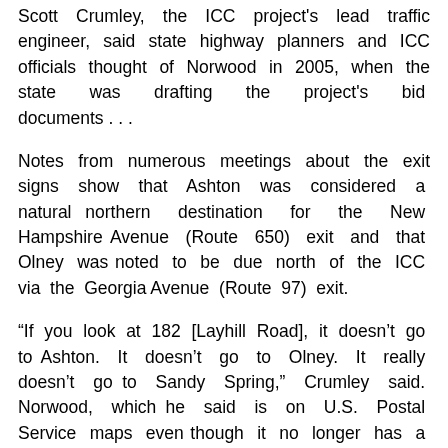Scott Crumley, the ICC project's lead traffic engineer, said state highway planners and ICC officials thought of Norwood in 2005, when the state was drafting the project's bid documents . . .
Notes from numerous meetings about the exit signs show that Ashton was considered a natural northern destination for the New Hampshire Avenue (Route 650) exit and that Olney was noted to be due north of the ICC via the Georgia Avenue (Route 97) exit.
“If you look at 182 [Layhill Road], it doesn’t go to Ashton. It doesn’t go to Olney. It really doesn’t go to Sandy Spring,” Crumley said. Norwood, which he said is on U.S. Postal Service maps even though it no longer has a post office, “was kind of the best of what they had to work with.”
That makes enough sense. Special thanks go to Katie